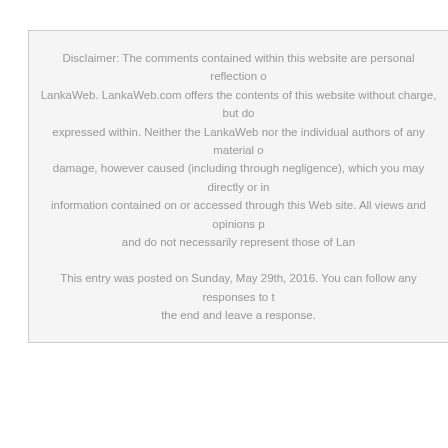Disclaimer: The comments contained within this website are personal reflection on LankaWeb. LankaWeb.com offers the contents of this website without charge, but do expressed within. Neither the LankaWeb nor the individual authors of any material o damage, however caused (including through negligence), which you may directly or in information contained on or accessed through this Web site. All views and opinions p and do not necessarily represent those of Lan
This entry was posted on Sunday, May 29th, 2016. You can follow any responses to t the end and leave a response.